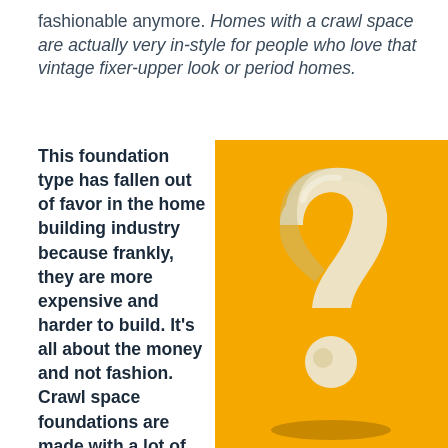fashionable anymore. Homes with a crawl space are actually very in-style for people who love that vintage fixer-upper look or period homes.
This foundation type has fallen out of favor in the home building industry because frankly, they are more expensive and harder to build. It’s all about the money and not fashion. Crawl space foundations are made with a lot of wood (not cheap) and take a long
[Figure (photo): A 3D cream/ivory question mark on a bright yellow/amber background, rendered with a shadow, giving a dimensional look.]